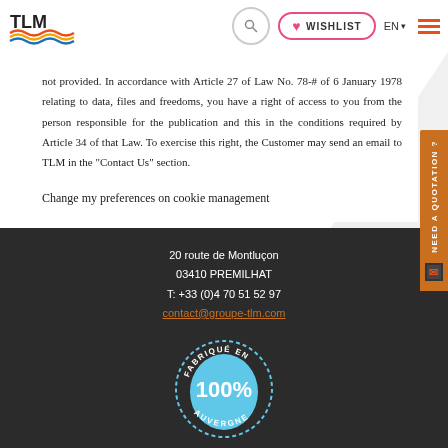TLM [logo] | Search | WISHLIST | EN | Menu
not provided. In accordance with Article 27 of Law No. 78-# of 6 January 1978 relating to data, files and freedoms, you have a right of access to you from the person responsible for the publication and this in the conditions required by Article 34 of that Law. To exercise this right, the Customer may send an email to TLM in the “Contact Us” section.
Change my preferences on cookie management
20 route de Montluçon
03410 PREMILHAT
T: +33 (0)4 70 51 52 97
contact@groupe-tlm.com